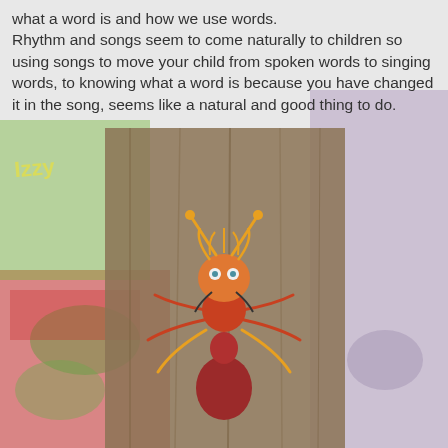[Figure (photo): Background image showing blurred colorful book covers and bags, with a children's book labeled 'Izzy' visible on the left and a purple bag on the right. A red and orange metal ant sculpture decorates a wooden post in the foreground center.]
what a word is and how we use words. Rhythm and songs seem to come naturally to children so using songs to move your child from spoken words to singing words, to knowing what a word is because you have changed it in the song, seems like a natural and good thing to do.